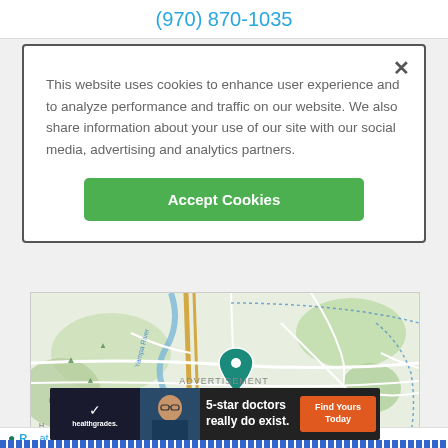(970) 870-1035
This website uses cookies to enhance user experience and to analyze performance and traffic on our website. We also share information about your use of our site with our social media, advertising and analytics partners.
Accept Cookies
[Figure (map): Street map showing location near Yampa River with teal pin marker indicating a medical facility location]
ADVERTISEMENT
[Figure (infographic): Healthgrades advertisement banner: '5-star doctors really do exist.' with Find Yours Today button]
R... at